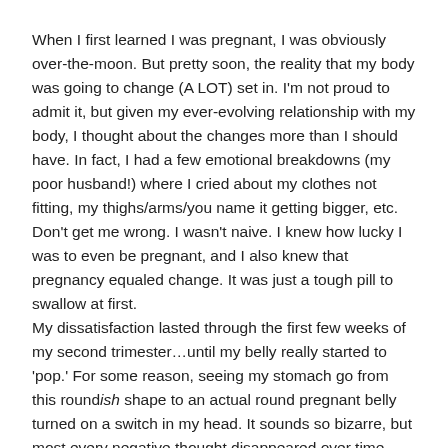When I first learned I was pregnant, I was obviously over-the-moon.  But pretty soon, the reality that my body was going to change (A LOT) set in. I'm not proud to admit it, but given my ever-evolving relationship with my body, I thought about the changes more than I should have.  In fact, I had a few emotional breakdowns (my poor husband!) where I cried about my clothes not fitting, my thighs/arms/you name it getting bigger, etc.  Don't get me wrong.  I wasn't naive.  I knew how lucky I was to even be pregnant, and I also knew that pregnancy equaled change.  It was just a tough pill to swallow at first.
My dissatisfaction lasted through the first few weeks of my second trimester…until my belly really started to 'pop.'  For some reason, seeing my stomach go from this roundish shape to an actual round pregnant belly turned on a switch in my head.  It sounds so bizarre, but most every negative thought disappeared over time.  Instead, I was filled with